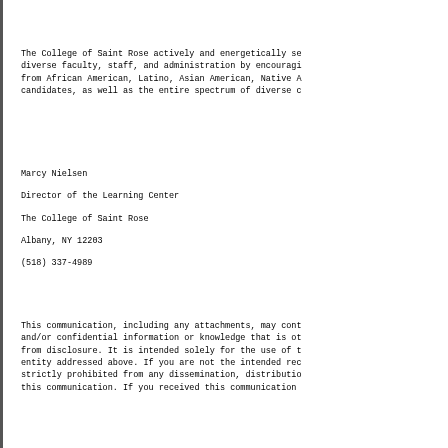The College of Saint Rose actively and energetically se diverse faculty, staff, and administration by encouragi from African American, Latino, Asian American, Native A candidates, as well as the entire spectrum of diverse c
Marcy Nielsen

Director of the Learning Center

The College of Saint Rose

Albany, NY 12203

(518) 337-4989
This communication, including any attachments, may cont and/or confidential information or knowledge that is ot from disclosure. It is intended solely for the use of t entity addressed above. If you are not the intended rec strictly prohibited from any dissemination, distributio this communication. If you received this communication